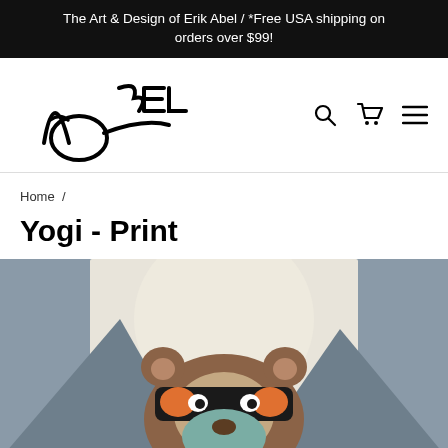The Art & Design of Erik Abel / *Free USA shipping on orders over $99!
[Figure (logo): Abel handwritten logo/signature in black ink]
Home /
Yogi - Print
[Figure (illustration): Illustrated bear (Yogi) with geometric style, orange, brown, teal colors, against mountain and moon background]